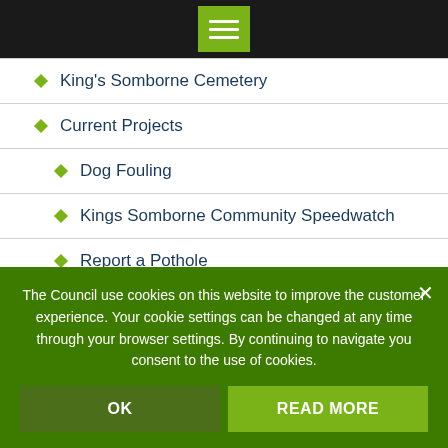[Figure (screenshot): Green hamburger menu button icon on black top bar]
King's Somborne Cemetery
Current Projects
Dog Fouling
Kings Somborne Community Speedwatch
Report a Pothole
Multi-Use Games Area (MUGA)
The Council use cookies on this website to improve the customer experience. Your cookie settings can be changed at any time through your browser settings. By continuing to navigate you consent to the use of cookies.
OK
READ MORE